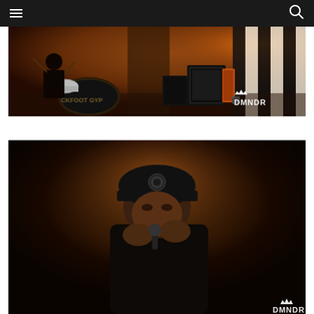Navigation header with hamburger menu and search icon
[Figure (photo): Concert photo showing band members performing on stage with warm orange lighting. A drummer is visible on the left, guitar amplifiers on the right, and a striped backdrop. The DMNDR watermark logo appears in the bottom right corner. Partial text 'CKFOOT GYP' visible on bass drum.]
[Figure (photo): Concert photo of a performer in a dark hoodie and black cap with a logo, singing or rapping into a microphone with hands raised to face. Dark stage lighting with warm amber tones. DMNDR watermark logo visible in bottom right corner.]